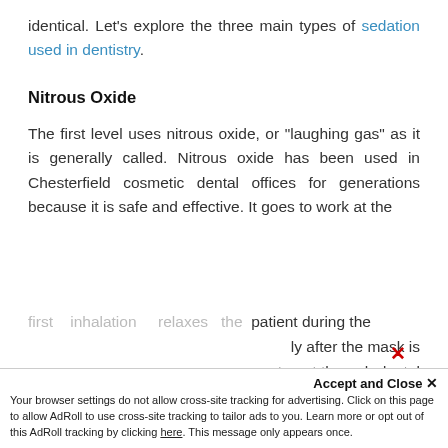identical. Let’s explore the three main types of sedation used in dentistry.
Nitrous Oxide
The first level uses nitrous oxide, or “laughing gas” as it is generally called. Nitrous oxide has been used in Chesterfield cosmetic dental offices for generations because it is safe and effective. It goes to work at the first inhalation, relaxes the patient during the procedure. Wears off quickly after the mask is removed, allows patients to get through dental procedures without needing to be knocked out cold,
[Figure (other): Gray advertisement banner reading NO DENTAL BENEFITS? WE HAVE YOU COVERED with Join Our Membership Plan! text below]
Join Our Membership Plan!
[Figure (other): Cookie consent bar: Accept and Close button. Text: Your browser settings do not allow cross-site tracking for advertising. Click on this page to allow AdRoll to use cross-site tracking to tailor ads to you. Learn more or opt out of this AdRoll tracking by clicking here. This message only appears once.]